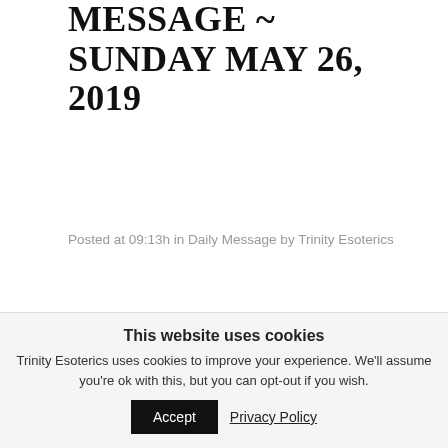MESSAGE ~ SUNDAY MAY 26, 2019
Posted at 09:13h in Daily Message by Trinity Esoterics
What is presenting for many enlightening human beings right now is the opportunity to heal ancestral trauma. For many of you this means reviewing your upbringing and lineage.
This website uses cookies
Trinity Esoterics uses cookies to improve your experience. We'll assume you're ok with this, but you can opt-out if you wish.
Accept  Privacy Policy